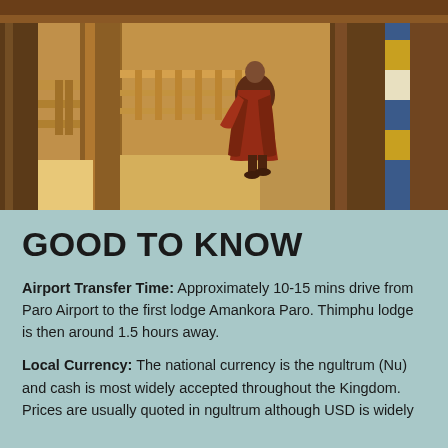[Figure (photo): A monk in red robes walking away through wooden pillared corridor of a Bhutanese monastery or temple, warm golden sunlight filtering through the columns, colorful painted elements visible on the right side.]
GOOD TO KNOW
Airport Transfer Time: Approximately 10-15 mins drive from Paro Airport to the first lodge Amankora Paro. Thimphu lodge is then around 1.5 hours away.
Local Currency: The national currency is the ngultrum (Nu) and cash is most widely accepted throughout the Kingdom. Prices are usually quoted in ngultrum although USD is widely